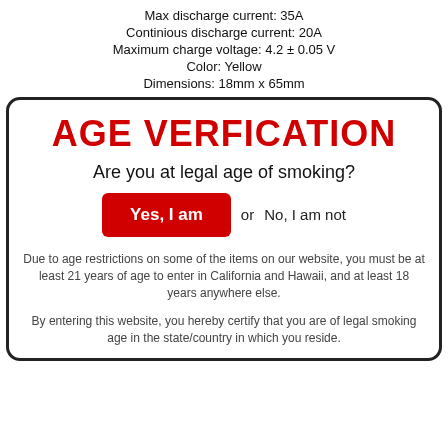Max discharge current: 35A
Continious discharge current: 20A
Maximum charge voltage: 4.2 ± 0.05 V
Color: Yellow
Dimensions: 18mm x 65mm
AGE VERFICATION
Are you at legal age of smoking?
Yes, I am  or  No, I am not
Due to age restrictions on some of the items on our website, you must be at least 21 years of age to enter in California and Hawaii, and at least 18 years anywhere else.
By entering this website, you hereby certify that you are of legal smoking age in the state/country in which you reside.